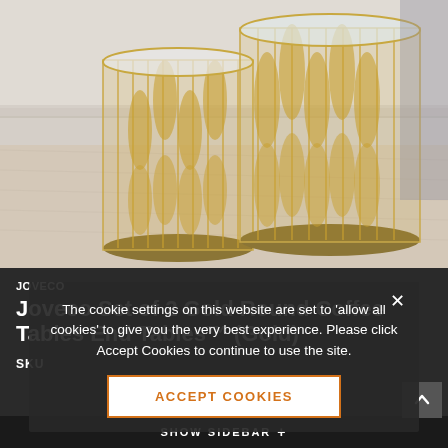[Figure (photo): Two gold decorative round nesting coffee/end tables with leaf-pattern metalwork on a light beige/grey rug in a living room setting]
JOVECO
Joveco Set of 2 Gold Round Coffee Tables End Tables™ (Gold)
SKU
The cookie settings on this website are set to 'allow all cookies' to give you the very best experience. Please click Accept Cookies to continue to use the site.
ACCEPT COOKIES
SHOW SIDEBAR +